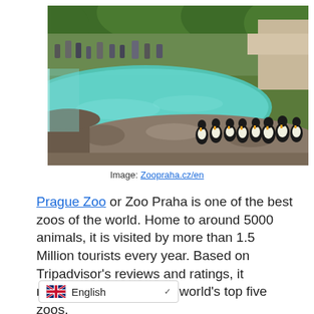[Figure (photo): Penguins walking on rocks beside a turquoise pool enclosure at Prague Zoo, with visitors visible in the background surrounded by trees]
Image: Zoopraha.cz/en
Prague Zoo or Zoo Praha is one of the best zoos of the world. Home to around 5000 animals, it is visited by more than 1.5 Million tourists every year. Based on Tripadvisor's reviews and ratings, it regularly features in the world's top five zoos.
[Figure (screenshot): Language selector widget showing UK flag and 'English' text with a dropdown chevron]